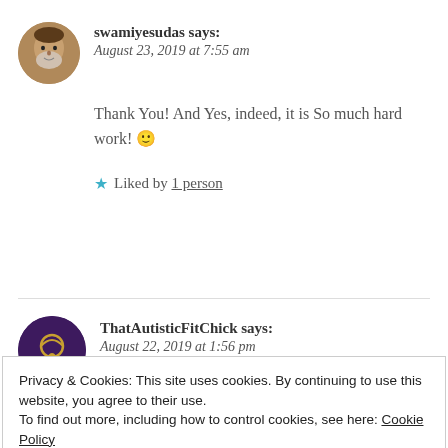[Figure (photo): Avatar of swamiyesudas - an elderly man with grey beard]
swamiyesudas says:
August 23, 2019 at 7:55 am
Thank You! And Yes, indeed, it is So much hard work! 🙂
★ Liked by 1 person
[Figure (photo): Avatar of ThatAutisticFitChick - purple circle with necklace icon]
ThatAutisticFitChick says:
August 22, 2019 at 1:56 pm
Privacy & Cookies: This site uses cookies. By continuing to use this website, you agree to their use.
To find out more, including how to control cookies, see here: Cookie Policy